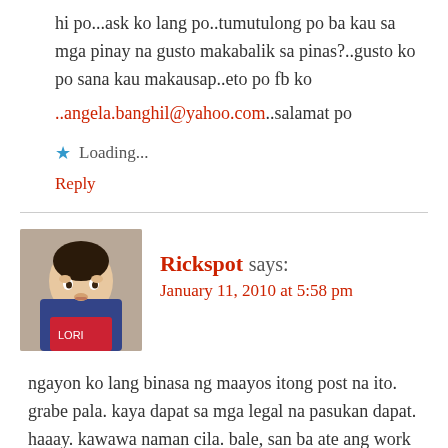hi po...ask ko lang po..tumutulong po ba kau sa mga pinay na gusto makabalik sa pinas?..gusto ko po sana kau makausap..eto po fb ko ..angela.banghil@yahoo.com..salamat po
Loading...
Reply
Rickspot says:
January 11, 2010 at 5:58 pm
ngayon ko lang binasa ng maayos itong post na ito. grabe pala. kaya dapat sa mga legal na pasukan dapat. haaay. kawawa naman cila. bale, san ba ate ang work mo?